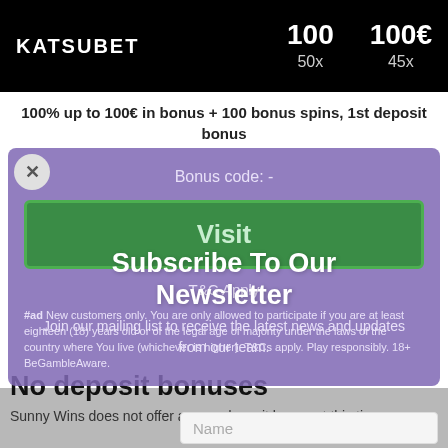[Figure (screenshot): Top black banner with Katsubet logo on the left and stats showing 100 and 100€ on the right, with 50x and 45x below]
100% up to 100€ in bonus + 100 bonus spins, 1st deposit bonus
Bonus code: -
Visit
T&C Apply
#ad New customers only. You are only allowed to participate if you are at least eighteen (18) years old or of the legal age of majority under the laws of the country where You live (whichever is higher). T&Cs apply. Play responsibly. 18+ BeGambleAware.
Subscribe To Our Newsletter
Join our mailing list to receive the latest news and updates from our team.
No deposit bonuses
Sunny Wins does not offer any no deposit bonus at this time.
Name